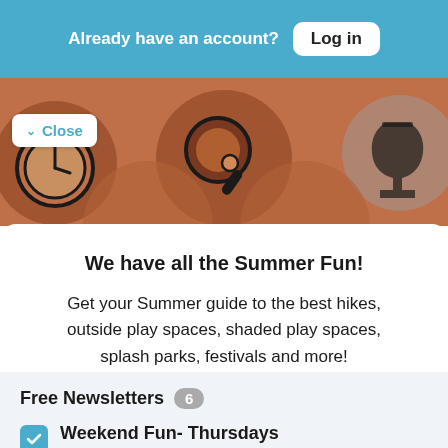Already have an account? Log in
[Figure (illustration): Illustration banner with sports/activity icons (stopwatch, ping pong paddle, trophy/cup) on a brown/rust background with circular shapes]
Close
We have all the Summer Fun!
Get your Summer guide to the best hikes, outside play spaces, shaded play spaces, splash parks, festivals and more!
Free Newsletters 6
Weekend Fun- Thursdays A weekly newsletter sent out on